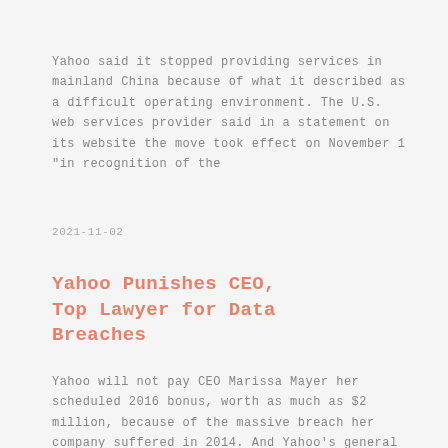Yahoo said it stopped providing services in mainland China because of what it described as a difficult operating environment. The U.S. web services provider said in a statement on its website the move took effect on November 1 "in recognition of the
2021-11-02
Yahoo Punishes CEO, Top Lawyer for Data Breaches
Yahoo will not pay CEO Marissa Mayer her scheduled 2016 bonus, worth as much as $2 million, because of the massive breach her company suffered in 2014. And Yahoo's general counsel, Ronald Bell, resigned without severance pay for his department's